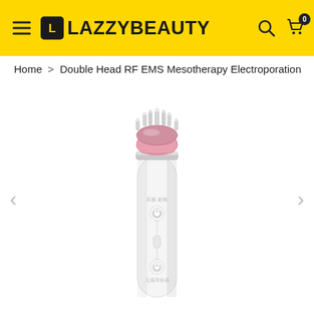LazzyBeauty – navigation header with hamburger menu, logo, search and cart icons
Home > Double Head RF EMS Mesotherapy Electroporation
[Figure (photo): Product photo of a white/pink pen-shaped Double Head RF EMS Mesotherapy Electroporation beauty device. The device has a pink top attachment with multiple silver metal probe tips arranged in a circular pattern, a white cylindrical body with a power button, LED indicator, and a lower mode button, with Chinese text labels on the body.]